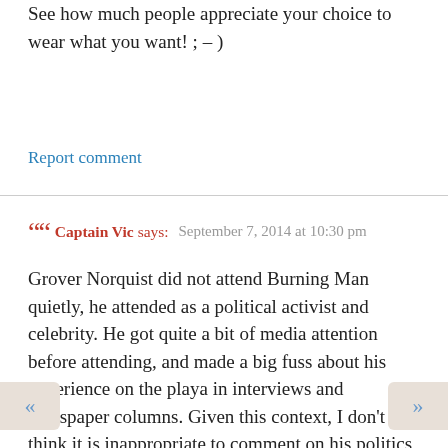See how much people appreciate your choice to wear what you want! ; – )
Report comment
Captain Vic says: September 7, 2014 at 10:30 pm
Grover Norquist did not attend Burning Man quietly, he attended as a political activist and celebrity. He got quite a bit of media attention before attending, and made a big fuss about his experience on the playa in interviews and newspaper columns. Given this context, I don't think it is inappropriate to comment on his politics, or his role in attending Burning Man.
I don't know much about the political views of most people I meet at Burning Man, but I sure know a lot out Grover's Politics. As I would with anyone attendi
t burn, I would give him a drink at our bar, share